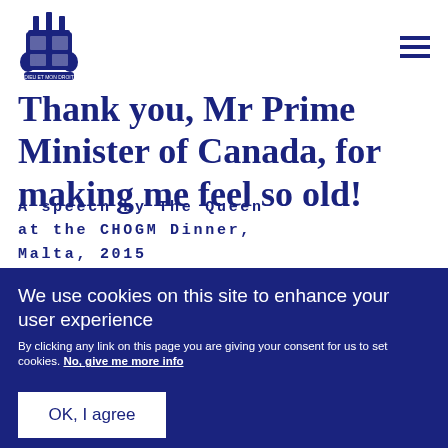[Figure (logo): Royal coat of arms logo in dark blue]
Thank you, Mr Prime Minister of Canada, for making me feel so old!
A speech by The Queen at the CHOGM Dinner, Malta, 2015
We use cookies on this site to enhance your user experience
By clicking any link on this page you are giving your consent for us to set cookies. No, give me more info
OK, I agree